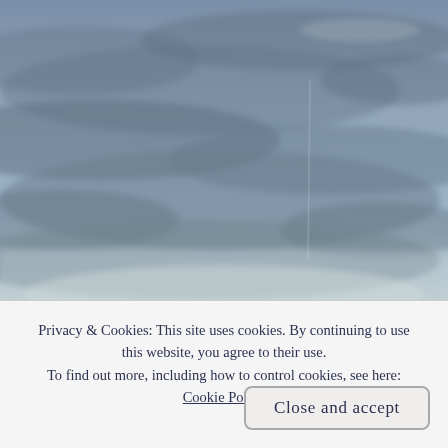[Figure (photo): Overcast sky with grey-blue clouds filling the entire frame, photographed from slightly below looking upward. Pale light near the horizon at the bottom of the image.]
Privacy & Cookies: This site uses cookies. By continuing to use this website, you agree to their use.
To find out more, including how to control cookies, see here: Cookie Policy
Close and accept